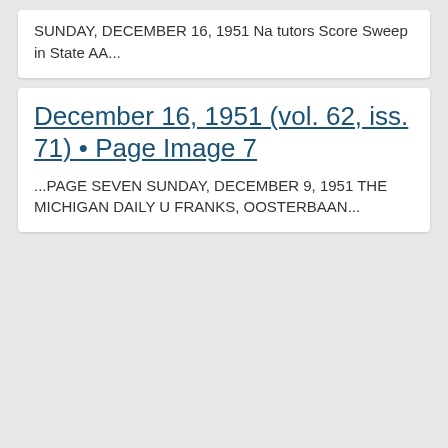SUNDAY, DECEMBER 16, 1951 Na tutors Score Sweep in State AA...
December 16, 1951 (vol. 62, iss. 71) • Page Image 7
...PAGE SEVEN SUNDAY, DECEMBER 9, 1951 THE MICHIGAN DAILY U FRANKS, OOSTERBAAN...